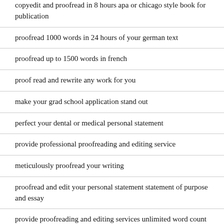copyedit and proofread in 8 hours apa or chicago style book for publication
proofread 1000 words in 24 hours of your german text
proofread up to 1500 words in french
proof read and rewrite any work for you
make your grad school application stand out
perfect your dental or medical personal statement
provide professional proofreading and editing service
meticulously proofread your writing
proofread and edit your personal statement statement of purpose and essay
provide proofreading and editing services unlimited word count